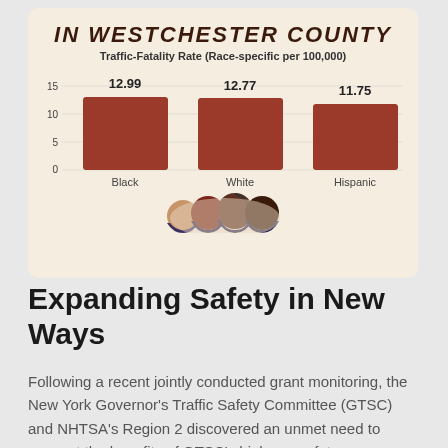[Figure (bar-chart): IN WESTCHESTER COUNTY — Traffic-Fatality Rate (Race-specific per 100,000)]
Expanding Safety in New Ways
Following a recent jointly conducted grant monitoring, the New York Governor's Traffic Safety Committee (GTSC) and NHTSA's Region 2 discovered an unmet need to connect the benefits of GTSC's highway safety programs with underserved